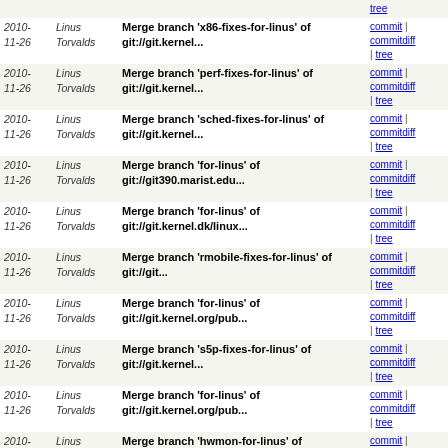| Date | Author | Message | Links |
| --- | --- | --- | --- |
| 2010-11-26 | Linus Torvalds | Merge branch 'x86-fixes-for-linus' of git://git.kernel... | commit | commitdiff | tree |
| 2010-11-26 | Linus Torvalds | Merge branch 'perf-fixes-for-linus' of git://git.kernel... | commit | commitdiff | tree |
| 2010-11-26 | Linus Torvalds | Merge branch 'sched-fixes-for-linus' of git://git.kernel... | commit | commitdiff | tree |
| 2010-11-26 | Linus Torvalds | Merge branch 'for-linus' of git://git390.marist.edu... | commit | commitdiff | tree |
| 2010-11-26 | Linus Torvalds | Merge branch 'for-linus' of git://git.kernel.dk/linux... | commit | commitdiff | tree |
| 2010-11-26 | Linus Torvalds | Merge branch 'rmobile-fixes-for-linus' of git://git... | commit | commitdiff | tree |
| 2010-11-26 | Linus Torvalds | Merge branch 'for-linus' of git://git.kernel.org/pub... | commit | commitdiff | tree |
| 2010-11-26 | Linus Torvalds | Merge branch 's5p-fixes-for-linus' of git://git.kernel... | commit | commitdiff | tree |
| 2010-11-26 | Linus Torvalds | Merge branch 'for-linus' of git://git.kernel.org/pub... | commit | commitdiff | tree |
| 2010-11-24 | Linus Torvalds | Merge branch 'hwmon-for-linus' of git://git.kernel... | commit | commitdiff | tree |
| 2010-11-24 | Linus Torvalds | Merge branch 'for-linus' of git://git.kernel.org/pub... | commit | commitdiff | tree |
| 2010-11-24 | Linus Torvalds | Merge git://git.kernel.org/pub/scm/linux/kernel/git... | commit | commitdiff | tree |
| 2010-11-24 | Linus Torvalds | Merge branch 'drivers' of git://git.kernel.org/pub... | commit | commitdiff | tree |